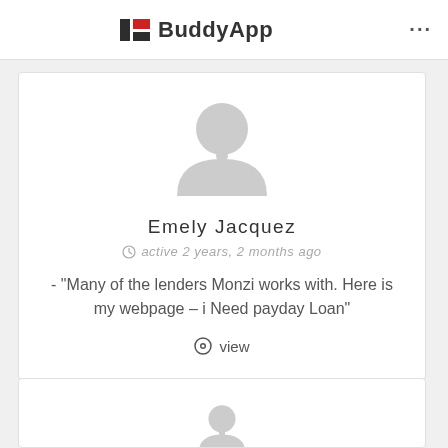BuddyApp
[Figure (illustration): Circular grey default user avatar silhouette]
Emely Jacquez
active 2 years, 2 months ago
- "Many of the lenders Monzi works with. Here is my webpage – i Need payday Loan"
view
[Figure (illustration): Partial circular grey default user avatar silhouette at bottom of page]